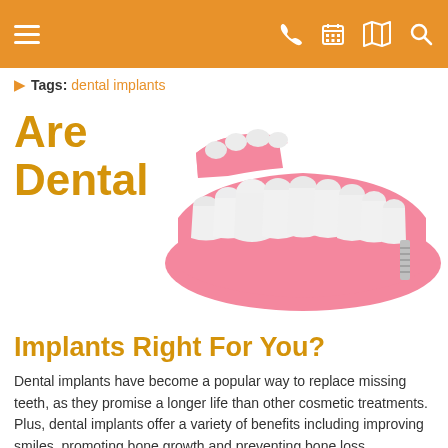Tags: dental implants
Are Dental Implants Right For You?
[Figure (illustration): 3D illustration of a dental implant model showing a lower jaw with multiple white teeth embedded in pink gum tissue, with one metal dental implant screw visible at the right side, and a removable bridge section at the top left.]
Dental implants have become a popular way to replace missing teeth, as they promise a longer life than other cosmetic treatments. Plus, dental implants offer a variety of benefits including improving smiles, promoting bone growth and preventing bone loss, maintaining the face's natural shape, and increasing self-esteem. If you are suffering from dental loss, then you may feel self-conscious